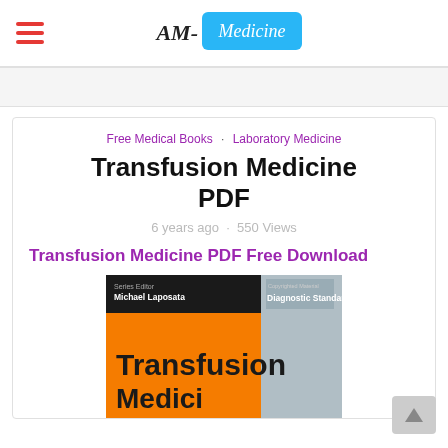AM-Medicine (logo/header navigation)
Free Medical Books · Laboratory Medicine
Transfusion Medicine PDF
6 years ago · 550 Views
Transfusion Medicine PDF Free Download
[Figure (photo): Book cover of Transfusion Medicine showing orange background with title text and a microscope image. Series Editor Michael Laposata, Diagnostic Standards of Care series.]